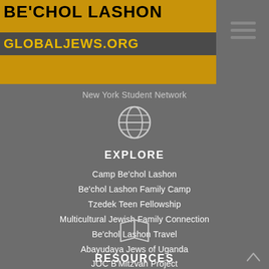[Figure (logo): Be'chol Lashon / globaljews.org banner logo with yellow/gold background and decorative cultural imagery]
New York Student Network
[Figure (illustration): Globe/world icon in white outline]
EXPLORE
Camp Be'chol Lashon
Be'chol Lashon Family Camp
Tzedek Teen Fellowship
Multicultural Jewish Family Connection
Be'chol Lashon Travel
Abayudaya Jews of Uganda
JOC B'Mitzvah Project
[Figure (illustration): Open book icon in white outline]
RESOURCES